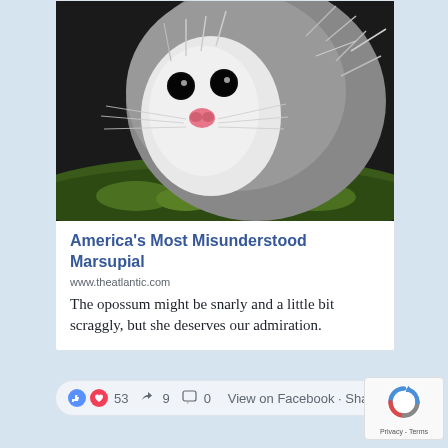[Figure (photo): Close-up photo of an opossum with pink nose, whiskers, and spiky grey fur, clinging to a mossy green log. Taken at night or in low light.]
America's Most Misunderstood Marsupial
www.theatlantic.com
The opossum might be snarly and a little bit scraggly, but she deserves our admiration.
53  9  0  View on Facebook · Share
[Figure (logo): reCAPTCHA logo with Privacy - Terms text]